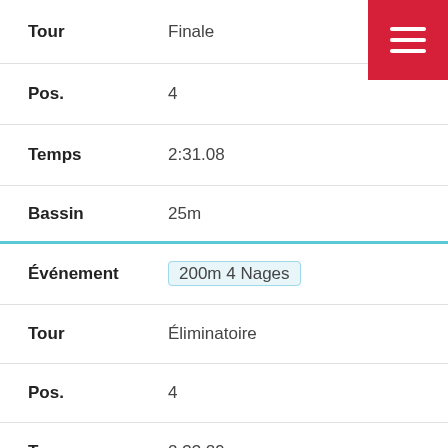| Field | Value |
| --- | --- |
| Tour | Finale |
| Pos. | 4 |
| Temps | 2:31.08 |
| Bassin | 25m |
| Événement | 200m 4 Nages |
| Tour | Éliminatoire |
| Pos. | 4 |
| Temps | 2:33.29 |
| Bassin | 25m |